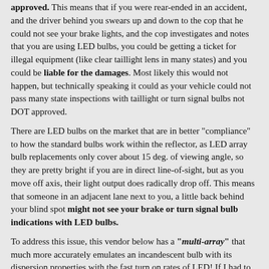approved. This means that if you were rear-ended in an accident, and the driver behind you swears up and down to the cop that he could not see your brake lights, and the cop investigates and notes that you are using LED bulbs, you could be getting a ticket for illegal equipment (like clear taillight lens in many states) and you could be liable for the damages. Most likely this would not happen, but technically speaking it could as your vehicle could not pass many state inspections with taillight or turn signal bulbs not DOT approved.
There are LED bulbs on the market that are in better "compliance" to how the standard bulbs work within the reflector, as LED array bulb replacements only cover about 15 deg. of viewing angle, so they are pretty bright if you are in direct line-of-sight, but as you move off axis, their light output does radically drop off. This means that someone in an adjacent lane next to you, a little back behind your blind spot might not see your brake or turn signal bulb indications with LED bulbs.
To address this issue, this vendor below has a "multi-array" that much more accurately emulates an incandescent bulb with its dispersion properties with the fast turn on rates of LED! If I had to recommend an LED replacement for the 1157/2057/3057 bulb series, this would be the one.
http://www.ledtronics.com/datasheets/auto_index/auto_index.htm